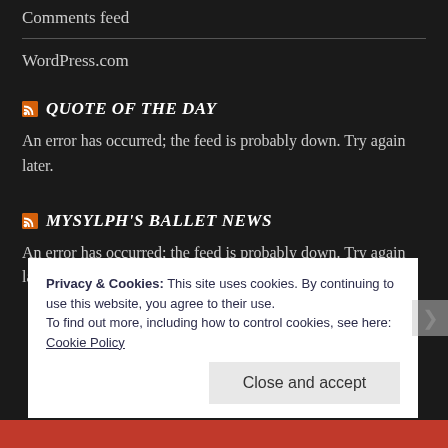Comments feed
WordPress.com
QUOTE OF THE DAY
An error has occurred; the feed is probably down. Try again later.
MYSYLPH'S BALLET NEWS
An error has occurred; the feed is probably down. Try again later.
Privacy & Cookies: This site uses cookies. By continuing to use this website, you agree to their use.
To find out more, including how to control cookies, see here: Cookie Policy
Close and accept